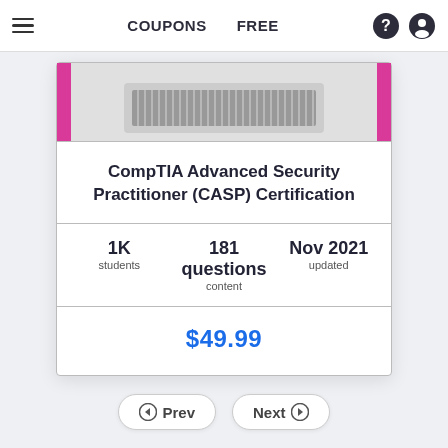≡  COUPONS  FREE
[Figure (photo): Keyboard image with pink side accents on a card]
CompTIA Advanced Security Practitioner (CASP) Certification
1K students | 181 questions content | Nov 2021 updated
$49.99
← Prev   Next →